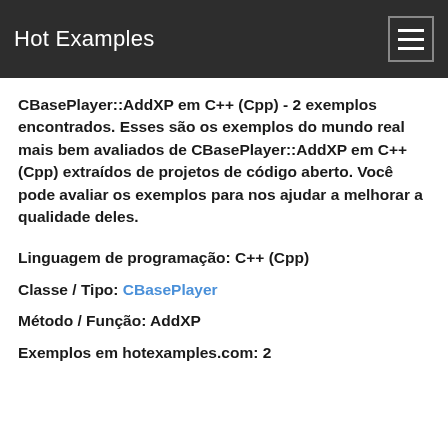Hot Examples
CBasePlayer::AddXP em C++ (Cpp) - 2 exemplos encontrados. Esses são os exemplos do mundo real mais bem avaliados de CBasePlayer::AddXP em C++ (Cpp) extraídos de projetos de código aberto. Você pode avaliar os exemplos para nos ajudar a melhorar a qualidade deles.
Linguagem de programação: C++ (Cpp)
Classe / Tipo: CBasePlayer
Método / Função: AddXP
Exemplos em hotexamples.com: 2